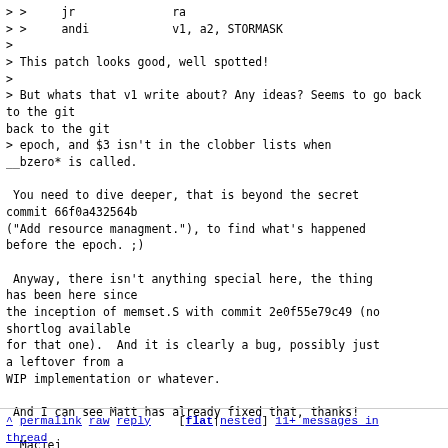> >     jr              ra
> >     andi            v1, a2, STORMASK
>
> This patch looks good, well spotted!
>
> But whats that v1 write about? Any ideas? Seems to go back to the git
> epoch, and $3 isn't in the clobber lists when __bzero* is called.

 You need to dive deeper, that is beyond the secret commit 66f0a432564b
("Add resource managment."), to find what's happened before the epoch. ;)

 Anyway, there isn't anything special here, the thing has been here since
the inception of memset.S with commit 2e0f55e79c49 (no shortlog available
for that one).  And it is clearly a bug, possibly just a leftover from a
WIP implementation or whatever.

 And I can see Matt has already fixed that, thanks!

  Maciej
^ permalink raw reply    [flat|nested]  11+ messages in thread